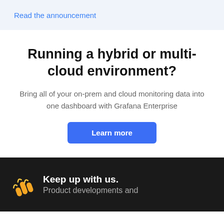Read the announcement
Running a hybrid or multi-cloud environment?
Bring all of your on-prem and cloud monitoring data into one dashboard with Grafana Enterprise
Learn more
Keep up with us. Product developments and